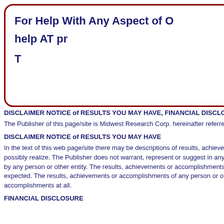For Help With Any Aspect of O
help AT pr
T
DISCLAIMER NOTICE of RESULTS YOU MAY HAVE, FINANCIAL DISCLOSUR
The Publisher of this page/site is Midwest Research Corp. hereinafter referred to
DISCLAIMER NOTICE of RESULTS YOU MAY HAVE
In the text of this web page/site there may be descriptions of results, achieveme possibly realize. The Publisher does not warrant, represent or suggest in any wa by any person or other entity. The results, achievements or accomplishments tha expected. The results, achievements or accomplishments of any person or oth accomplishments at all.
FINANCIAL DISCLOSURE